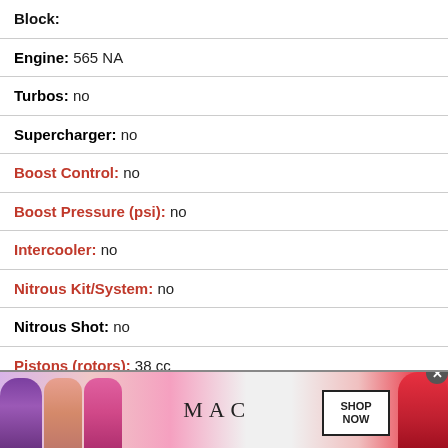| Field | Value |
| --- | --- |
| Block: |  |
| Engine: | 565 NA |
| Turbos: | no |
| Supercharger: | no |
| Boost Control: | no |
| Boost Pressure (psi): | no |
| Intercooler: | no |
| Nitrous Kit/System: | no |
| Nitrous Shot: | no |
| Pistons (rotors): | 38 cc |
| Port: | Mahle |
[Figure (photo): MAC Cosmetics advertisement banner with lipsticks and SHOP NOW button]